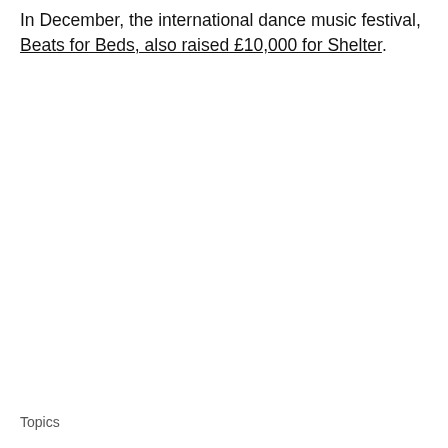In December, the international dance music festival, Beats for Beds, also raised £10,000 for Shelter.
Topics